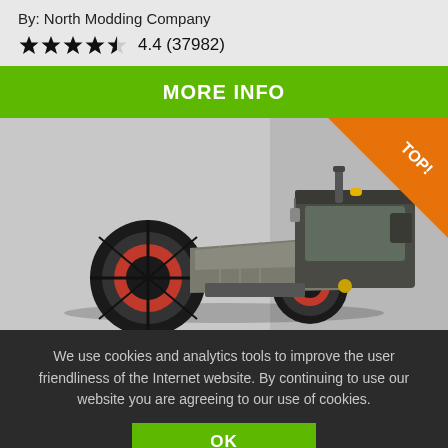By: North Modding Company
★★★★½  4.4 (37982)
MORE INFO
[Figure (illustration): 3D rendering of a silver/grey tractor with red wheel hubs on a light grey background, with an orange 'TOP!' corner banner]
We use cookies and analytics tools to improve the user friendliness of the Internet website. By continuing to use our website you are agreeing to our use of cookies.
OK